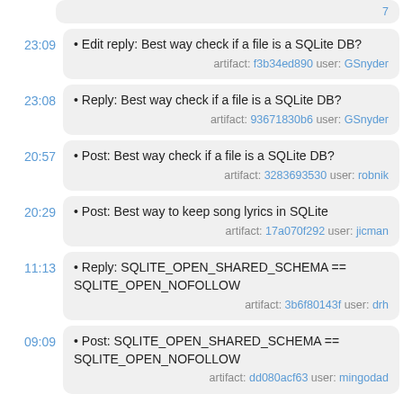23:09 • Edit reply: Best way check if a file is a SQLite DB? artifact: f3b34ed890 user: GSnyder
23:08 • Reply: Best way check if a file is a SQLite DB? artifact: 93671830b6 user: GSnyder
20:57 • Post: Best way check if a file is a SQLite DB? artifact: 3283693530 user: robnik
20:29 • Post: Best way to keep song lyrics in SQLite artifact: 17a070f292 user: jicman
11:13 • Reply: SQLITE_OPEN_SHARED_SCHEMA == SQLITE_OPEN_NOFOLLOW artifact: 3b6f80143f user: drh
09:09 • Post: SQLITE_OPEN_SHARED_SCHEMA == SQLITE_OPEN_NOFOLLOW artifact: dd080acf63 user: mingodad
2021-11-05
22:00 (partial)